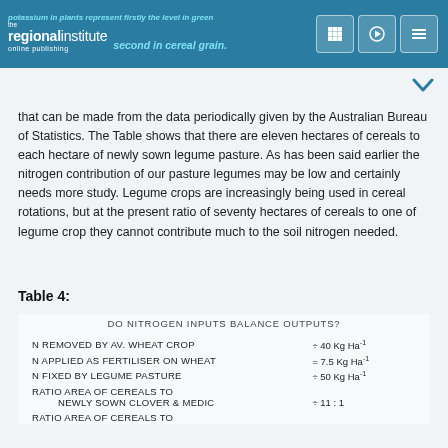potassium in plants represent firstly the level in green … that second in cereal grain.
that can be made from the data periodically given by the Australian Bureau of Statistics. The Table shows that there are eleven hectares of cereals to each hectare of newly sown legume pasture. As has been said earlier the nitrogen contribution of our pasture legumes may be low and certainly needs more study. Legume crops are increasingly being used in cereal rotations, but at the present ratio of seventy hectares of cereals to one of legume crop they cannot contribute much to the soil nitrogen needed.
Table 4:
| DO NITROGEN INPUTS BALANCE OUTPUTS? |  |
| N REMOVED BY AV. WHEAT CROP | ÷ 40 Kg Ha⁻¹ |
| N APPLIED AS FERTILISER ON WHEAT | = 7.5 Kg Ha⁻¹ |
| N FIXED BY LEGUME PASTURE | ÷ 50 Kg Ha⁻¹ |
| RATIO AREA OF CEREALS TO |  |
| NEWLY SOWN CLOVER & MEDIC | ÷ 11 : 1 |
| RATIO AREA OF CEREALS TO |  |